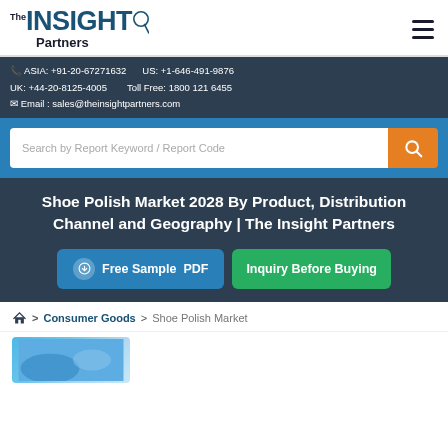The INSIGHT Partners
ASIA: +91-20-67271632   US: +1-646-491-9876
UK: +44-20-8125-4005   Toll Free: 1800 121 6455
Email : sales@theinsightpartners.com
Search by Report Keyword / Report Code
Shoe Polish Market 2028 By Product, Distribution Channel and Geography | The Insight Partners
Free Sample PDF
Inquiry Before Buying
Home > Consumer Goods > Shoe Polish Market
[Figure (photo): Shoe polish product image with blue tones]